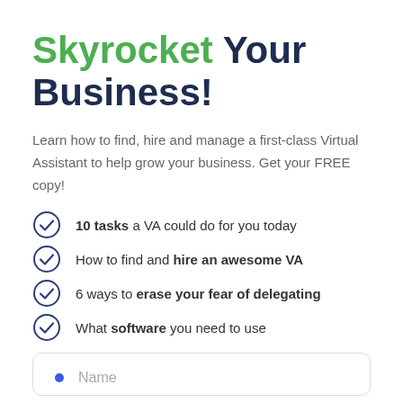Skyrocket Your Business!
Learn how to find, hire and manage a first-class Virtual Assistant to help grow your business. Get your FREE copy!
10 tasks a VA could do for you today
How to find and hire an awesome VA
6 ways to erase your fear of delegating
What software you need to use
Name